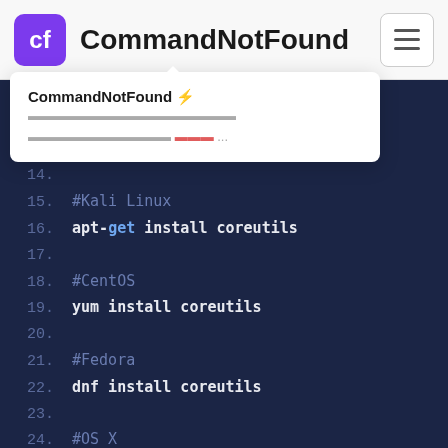cf CommandNotFound
CommandNotFound ⚡ [text] [text] ...
[Figure (screenshot): Code editor showing installation commands for coreutils on various Linux distributions. Lines 11-26 visible. Line 12: #Arch Linux, Line 13: pacman -S coreutils, Line 14: blank, Line 15: #Kali Linux, Line 16: apt-get install coreutils, Line 17: blank, Line 18: #CentOS, Line 19: yum install coreutils, Line 20: blank, Line 21: #Fedora, Line 22: dnf install coreutils, Line 23: blank, Line 24: #OS X, Line 25: brew install coreutils, Line 26: (partial)]